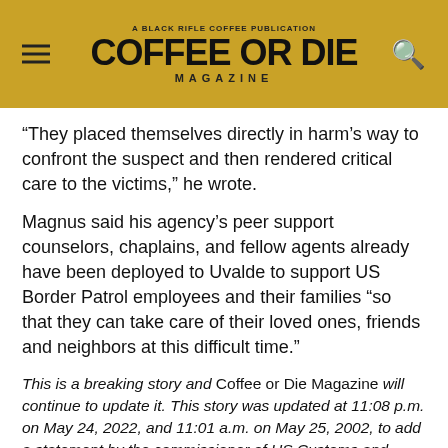COFFEE OR DIE MAGAZINE
“They placed themselves directly in harm’s way to confront the suspect and then rendered critical care to the victims,” he wrote.
Magnus said his agency’s peer support counselors, chaplains, and fellow agents already have been deployed to Uvalde to support US Border Patrol employees and their families “so that they can take care of their loved ones, friends and neighbors at this difficult time.”
This is a breaking story and Coffee or Die Magazine will continue to update it. This story was updated at 11:08 p.m. on May 24, 2022, and 11:01 a.m. on May 25, 2002, to add a statement by the commissioner of US Customs and Border Protection and to raise the official death toll to 19 children and two teachers.